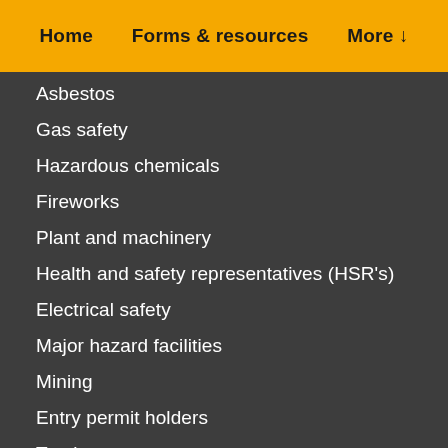Home | Forms & resources | More ↓
Asbestos
Gas safety
Hazardous chemicals
Fireworks
Plant and machinery
Health and safety representatives (HSR's)
Electrical safety
Major hazard facilities
Mining
Entry permit holders
Tourism